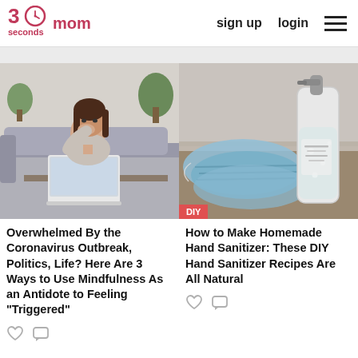30seconds mom | sign up | login
[Figure (photo): Woman sitting on couch with laptop looking concerned]
Overwhelmed By the Coronavirus Outbreak, Politics, Life? Here Are 3 Ways to Use Mindfulness As an Antidote to Feeling "Triggered"
[Figure (photo): Hand sanitizer dispenser bottle next to face masks on a wooden surface, with DIY badge]
How to Make Homemade Hand Sanitizer: These DIY Hand Sanitizer Recipes Are All Natural